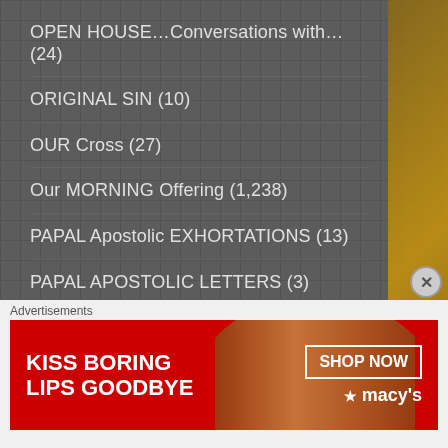OPEN HOUSE…Conversations with… (24)
ORIGINAL SIN (10)
OUR Cross (27)
Our MORNING Offering (1,238)
PAPAL Apostolic EXHORTATIONS (13)
PAPAL APOSTOLIC LETTERS (3)
PAPAL DECREE (13)
PAPAL ENCYLICALS (66)
PAPAL HOMILIES (215)
PAPAL MESSAGES (63)
PAPAL PRAYERS (104)
[Figure (screenshot): Advertisement banner for Macy's: 'KISS BORING LIPS GOODBYE' with SHOP NOW button and Macy's logo with star, red background with woman's face photo]